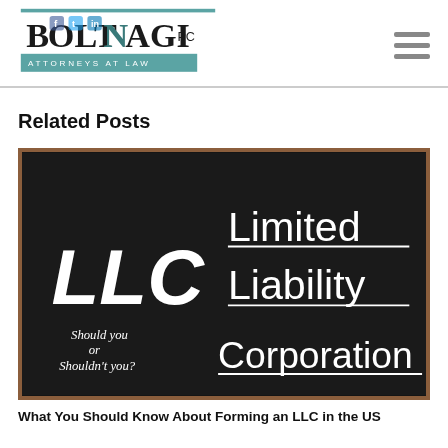BoltNagi PC - Attorneys at Law
Related Posts
[Figure (photo): Blackboard with LLC written in large chalk letters on the left, and 'Limited Liability Corporation' written on the right. Text at bottom left reads 'Should you or Shouldn't you?']
What You Should Know About Forming an LLC in the US